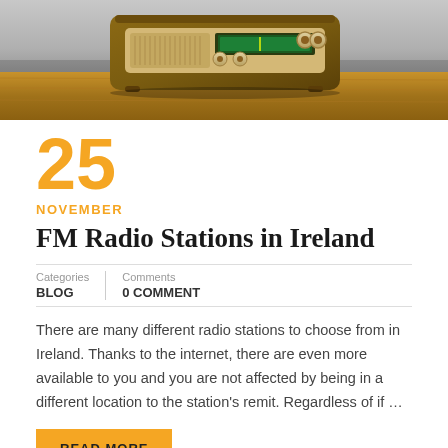[Figure (photo): A vintage wooden FM radio sitting on a wooden surface, with dials and a green display, photographed against a light background.]
25
NOVEMBER
FM Radio Stations in Ireland
Categories
BLOG
Comments
0 COMMENT
There are many different radio stations to choose from in Ireland. Thanks to the internet, there are even more available to you and you are not affected by being in a different location to the station's remit. Regardless of if …
READ MORE